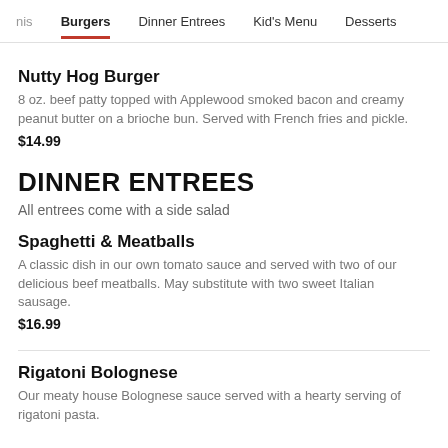nis  Burgers  Dinner Entrees  Kid's Menu  Desserts
Nutty Hog Burger
8 oz. beef patty topped with Applewood smoked bacon and creamy peanut butter on a brioche bun. Served with French fries and pickle.
$14.99
DINNER ENTREES
All entrees come with a side salad
Spaghetti & Meatballs
A classic dish in our own tomato sauce and served with two of our delicious beef meatballs. May substitute with two sweet Italian sausage.
$16.99
Rigatoni Bolognese
Our meaty house Bolognese sauce served with a hearty serving of rigatoni pasta.